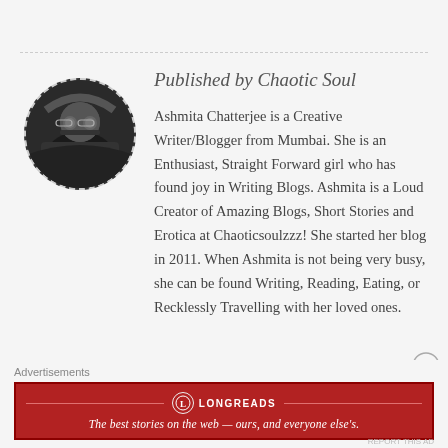[Figure (photo): Circular avatar photo of a young woman with glasses, dark hair, against a dark background, with a dashed circular border.]
Published by Chaotic Soul
Ashmita Chatterjee is a Creative Writer/Blogger from Mumbai. She is an Enthusiast, Straight Forward girl who has found joy in Writing Blogs. Ashmita is a Loud Creator of Amazing Blogs, Short Stories and Erotica at Chaoticsoulzzz! She started her blog in 2011. When Ashmita is not being very busy, she can be found Writing, Reading, Eating, or Recklessly Travelling with her loved ones.
Advertisements
[Figure (infographic): Red advertisement banner for Longreads with logo and slogan: The best stories on the web — ours, and everyone else's.]